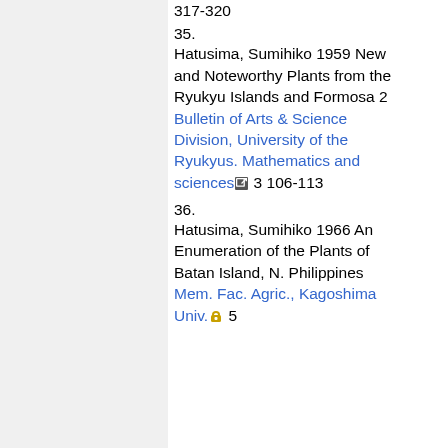35. Hatusima, Sumihiko 1959 New and Noteworthy Plants from the Ryukyu Islands and Formosa 2 Bulletin of Arts & Science Division, University of the Ryukyus. Mathematics and sciences 3 106-113
36. Hatusima, Sumihiko 1966 An Enumeration of the Plants of Batan Island, N. Philippines Mem. Fac. Agric., Kagoshima Univ. 5